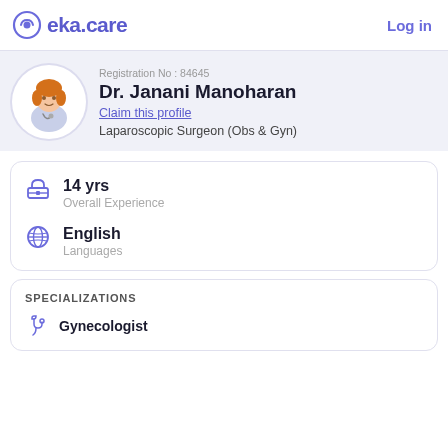eka.care — Log in
Registration No : 84645
Dr. Janani Manoharan
Claim this profile
Laparoscopic Surgeon (Obs & Gyn)
14 yrs
Overall Experience
English
Languages
SPECIALIZATIONS
Gynecologist